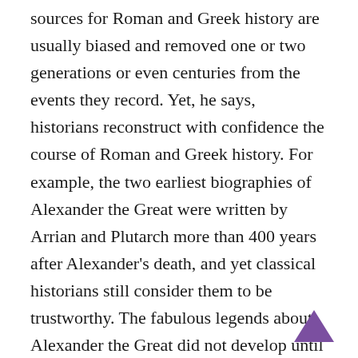sources for Roman and Greek history are usually biased and removed one or two generations or even centuries from the events they record. Yet, he says, historians reconstruct with confidence the course of Roman and Greek history. For example, the two earliest biographies of Alexander the Great were written by Arrian and Plutarch more than 400 years after Alexander's death, and yet classical historians still consider them to be trustworthy. The fabulous legends about Alexander the Great did not develop until during the centuries after these two writers. According to Sherwin-White, the writings of Herodotus enable us to determine the rate at which legend accumulates, and the tests show that even two generations is too short a time span to allow legendary tendencies to wipe out the hard core of historical facts. When Professor